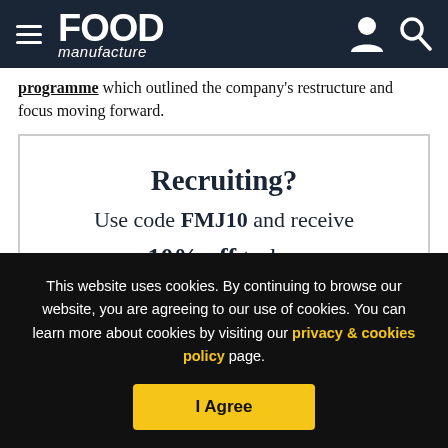FOOD manufacture
programme which outlined the company's restructure and focus moving forward.
[Figure (infographic): Advertisement box with text: Recruiting? Use code FMJ10 and receive 10% off today]
This website uses cookies. By continuing to browse our website, you are agreeing to our use of cookies. You can learn more about cookies by visiting our privacy & cookies policy page.
I Agree